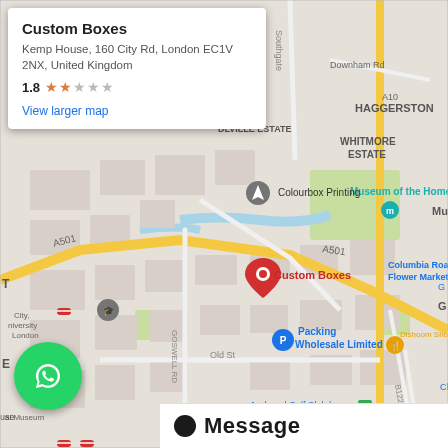[Figure (map): Google Maps screenshot showing Custom Boxes location at Kemp House, 160 City Rd, London EC1V 2NX. Map shows surrounding area including Haggerston, Whitmore Estate, Museum of the Home, Columbia Road Flower Market, A501 road, Goswell Rd, Old St, Colourbox Printing, Packing Wholesale Limited, Dishoom Shoreditch, Junkyard Golf Club Crazy Golf Shored, Barbican Centre, Finsbury area. A red map pin marks Custom Boxes location.]
Custom Boxes
Kemp House, 160 City Rd, London EC1V 2NX, United Kingdom
1.8 ★★☆☆☆
View larger map
[Figure (logo): WhatsApp green circle button with white phone/chat icon]
● Message